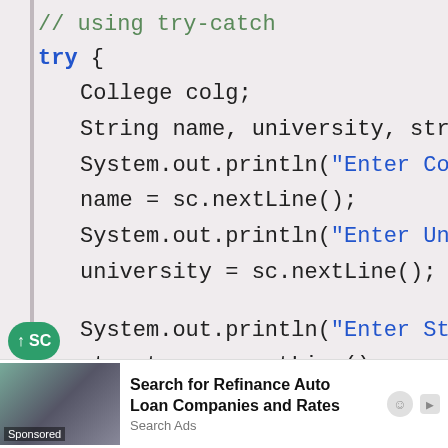[Figure (screenshot): Java code snippet showing try block with College object instantiation, variable declarations, and Scanner input prompts for College Name, University Name, Street, and City]
Advertisement overlay: Search for Refinance Auto Loan Companies and Rates – Search Ads